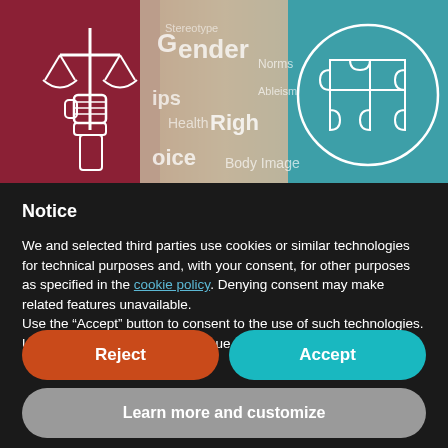[Figure (illustration): Composite banner image with a dark red left section showing a raised fist holding justice scales icon, a faded center section with a word cloud (Gender, Norms, Relationships, Health, Rights, Voice, Body Image, etc.), and a teal right section with a puzzle piece brain icon. Represents social justice and mental health themes.]
Notice
We and selected third parties use cookies or similar technologies for technical purposes and, with your consent, for other purposes as specified in the cookie policy. Denying consent may make related features unavailable.
Use the “Accept” button to consent to the use of such technologies. Use the “Reject” button to continue without accepting.